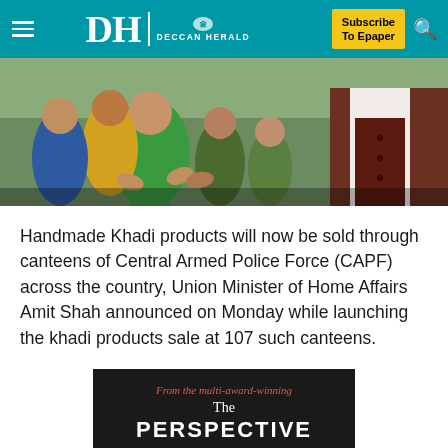Deccan Herald — Subscribe To Epaper
[Figure (photo): Crowd scene with people reaching out hands, woman in green top visible, man in dark vest on right]
Handmade Khadi products will now be sold through canteens of Central Armed Police Force (CAPF) across the country, Union Minister of Home Affairs Amit Shah announced on Monday while launching the khadi products sale at 107 such canteens.
[Figure (other): Advertisement banner: From the multi-award-winning The PERSPECTIVE]